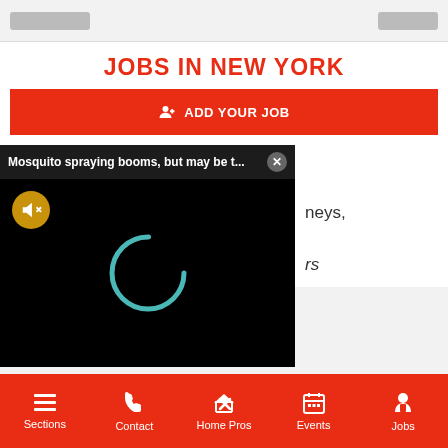[site logo] [login button]
JOBS IN NEW YORK
ADD YOUR JOB
MDG Design & Construction
Section 3 Work Opportunity
[Figure (screenshot): Video player popup with title 'Mosquito spraying booms, but may be t...' with a close button, black video area showing a loading spinner and mute icon]
neys, Technology, rs
Sections  Contact  Home Pros  Events  Jobs